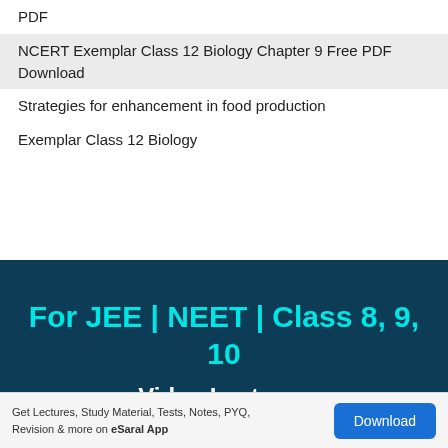PDF
NCERT Exemplar Class 12 Biology Chapter 9 Free PDF Download
Strategies for enhancement in food production
Exemplar Class 12 Biology
[Figure (infographic): Dark teal banner with cyan bold text: For JEE | NEET | Class 8, 9, 10 and white bold text: Video Lectures]
Get Lectures, Study Material, Tests, Notes, PYQ, Revision & more on eSaral App   Download